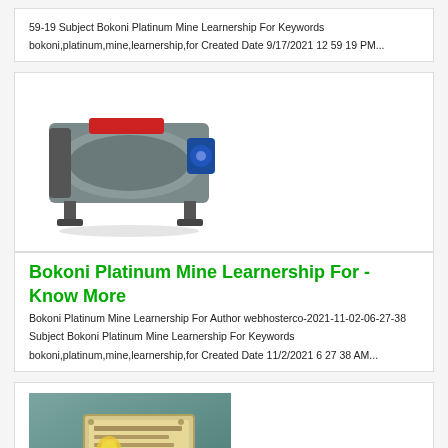59-19 Subject Bokoni Platinum Mine Learnership For Keywords bokoni,platinum,mine,learnership,for Created Date 9/17/2021 12 59 19 PM...
[Figure (photo): Industrial drum/tumbler machine, grey with red and blue motor parts]
Bokoni Platinum Mine Learnership For - Know More
Bokoni Platinum Mine Learnership For Author webhosterco-2021-11-02-06-27-38 Subject Bokoni Platinum Mine Learnership For Keywords bokoni,platinum,mine,learnership,for Created Date 11/2/2021 6 27 38 AM...
[Figure (photo): Close-up photo of a metal plaque on teal/green surface]